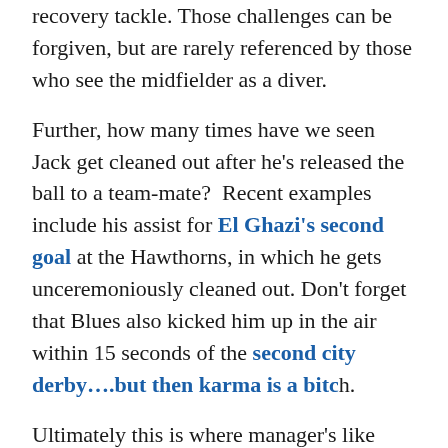recovery tackle. Those challenges can be forgiven, but are rarely referenced by those who see the midfielder as a diver.
Further, how many times have we seen Jack get cleaned out after he's released the ball to a team-mate?  Recent examples include his assist for El Ghazi's second goal at the Hawthorns, in which he gets unceremoniously cleaned out. Don't forget that Blues also kicked him up in the air within 15 seconds of the second city derby….but then karma is a bitch.
Ultimately this is where manager's like Smith earn their money.